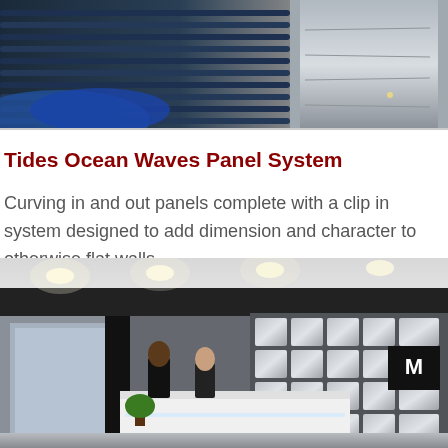[Figure (photo): Interior photo showing blue wave wall panels and metallic surfaces in a modern space]
Tides Ocean Waves Panel System
Curving in and out panels complete with a clip in system designed to add dimension and character to otherwise flat walls.
[Figure (photo): Interior photo of a modern office reception area with wave/square 3D metallic wall panels behind a white reception desk, two people standing, and recessed ceiling lights]